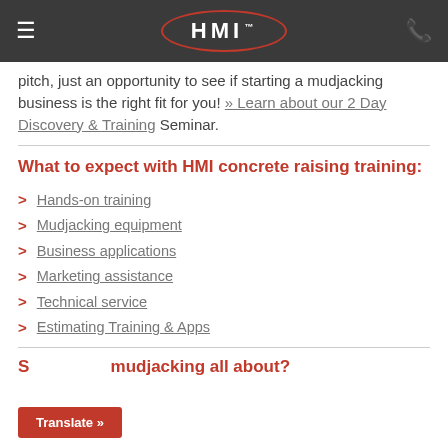HMI
pitch, just an opportunity to see if starting a mudjacking business is the right fit for you! » Learn about our 2 Day Discovery & Training Seminar.
What to expect with HMI concrete raising training:
Hands-on training
Mudjacking equipment
Business applications
Marketing assistance
Technical service
Estimating Training & Apps
S... about mudjacking all about?